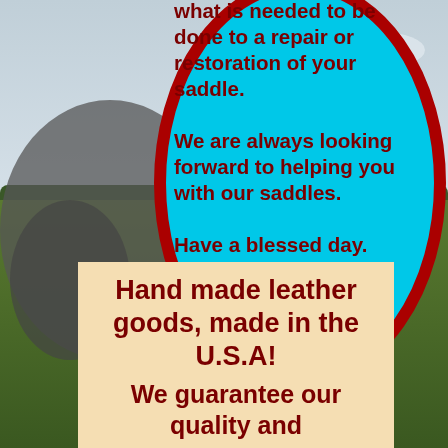[Figure (photo): Background photo of outdoor scene with horse/statue, trees, grass and sky]
what is needed to be done to a repair or restoration of your saddle. We are always looking forward to helping you with our saddles. Have a blessed day.
"Slade Made means Handmade."
Hand made leather goods, made in the U.S.A! We guarantee our quality and